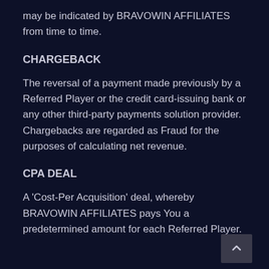may be indicated by BRAVOWIN AFFILIATES from time to time.
CHARGEBACK
The reversal of a payment made previously by a Referred Player or the credit card-issuing bank or any other third-party payments solution provider. Chargebacks are regarded as Fraud for the purposes of calculating net revenue.
CPA DEAL
A 'Cost-Per Acquisition' deal, whereby BRAVOWIN AFFILIATES pays You a predetermined amount for each Referred Player.